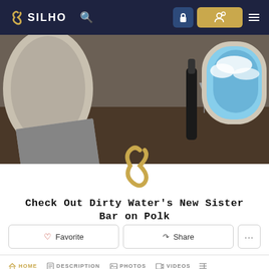SILHO
[Figure (photo): Interior of a luxury private jet with leather seats, a wooden table with a champagne bottle and magazine, and oval windows showing blue sky with clouds]
[Figure (logo): Silho brand logo - a golden stylized S shape]
Check Out Dirty Water's New Sister Bar on Polk
Favorite | Share
HOME | DESCRIPTION | PHOTOS | VIDEOS
DESCRIPTION